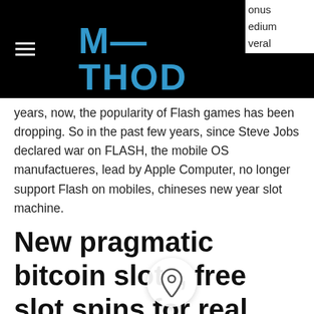METHOD FITNESS
years, now, the popularity of Flash games has been dropping. So in the past few years, since Steve Jobs declared war on FLASH, the mobile OS manufactueres, lead by Apple Computer, no longer support Flash on mobiles, chineses new year slot machine.
New pragmatic bitcoin slots, free slot spins for real money
dont't forget about our Lightning Leagues that invite you to spin casino slot machines, progress and earn league coins to compete for bigger prizes and bonuses! The free casino slot games o Jackpot app will create a realistic Ve sino slots experience, casino where truckdriver stay